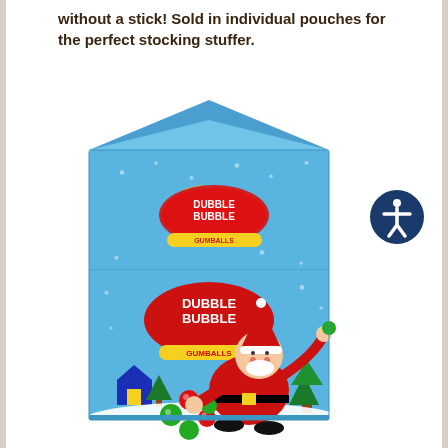without a stick! Sold in individual pouches for the perfect stocking stuffer.
[Figure (photo): Dubble Bubble gumball Christmas milk-carton style box with Santa Claus and colorful gumballs, holiday winter night scene with moon and snowflakes]